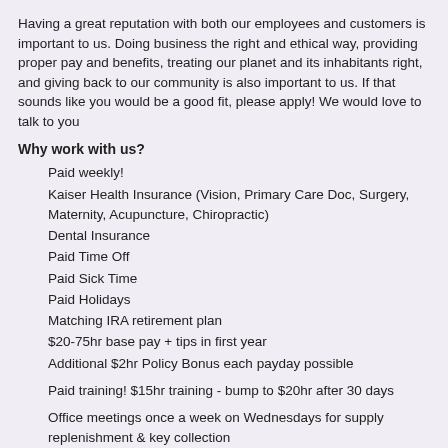Having a great reputation with both our employees and customers is important to us. Doing business the right and ethical way, providing proper pay and benefits, treating our planet and its inhabitants right, and giving back to our community is also important to us. If that sounds like you would be a good fit, please apply! We would love to talk to you
Why work with us?
Paid weekly!
Kaiser Health Insurance (Vision, Primary Care Doc, Surgery, Maternity, Acupuncture, Chiropractic)
Dental Insurance
Paid Time Off
Paid Sick Time
Paid Holidays
Matching IRA retirement plan
$20-75hr base pay + tips in first year
Additional $2hr Policy Bonus each payday possible
Paid training! $15hr training - bump to $20hr after 30 days
Office meetings once a week on Wednesdays for supply replenishment & key collection
Christmas bonuses for employees after 1 year
No drama
No experience necessary
Advancement and promotion opportunities